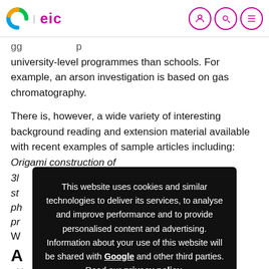C | eic
…gg … university-level programmes than schools. For example, an arson investigation is based on gas chromatography.
There is, however, a wide variety of interesting background reading and extension material available with recent examples of sample articles including: Origami construction of 3D… st… ph… pr… W…
A…
Although I've visited the RSC site on several occasions
This website uses cookies and similar technologies to deliver its services, to analyse and improve performance and to provide personalised content and advertising. Information about your use of this website will be shared with Google and other third parties. Read our privacy policy.